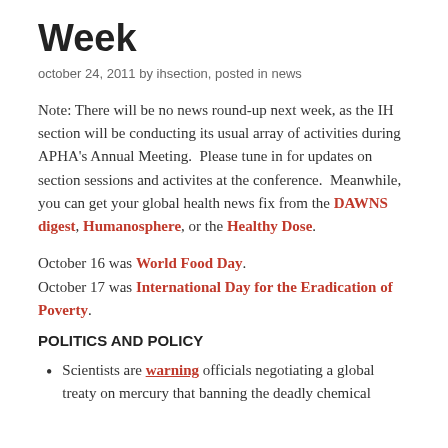Week
october 24, 2011 by ihsection, posted in news
Note: There will be no news round-up next week, as the IH section will be conducting its usual array of activities during APHA's Annual Meeting.  Please tune in for updates on section sessions and activites at the conference.  Meanwhile, you can get your global health news fix from the DAWNS digest, Humanosphere, or the Healthy Dose.
October 16 was World Food Day.
October 17 was International Day for the Eradication of Poverty.
POLITICS AND POLICY
Scientists are warning officials negotiating a global treaty on mercury that banning the deadly chemical